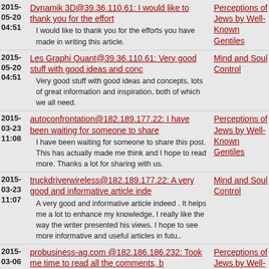2015-05-20 04:51 Dynamik 3D@39.36.110.61: I would like to thank you for the effort
I would like to thank you for the efforts you have made in writing this article.
2015-05-20 04:51 Les Graphi Quant@39.36.110.61: Very good stuff with good ideas and conc
Very good stuff with good ideas and concepts, lots of great information and inspiration, both of which we all need.
2015-03-23 11:08 autoconfrontation@182.189.177.22: I have been waiting for someone to share
I have been waiting for someone to share this post. This has actually made me think and I hope to read more. Thanks a lot for sharing with us.
2015-03-23 11:07 truckdriverwireless@182.189.177.22: A very good and informative article inde
A very good and informative article indeed . It helps me a lot to enhance my knowledge, I really like the way the writer presented his views. I hope to see more informative and useful articles in futu..
2015-03-06 05:47 probusiness-ag.com @182.186.186.232: Took me time to read all the comments, b